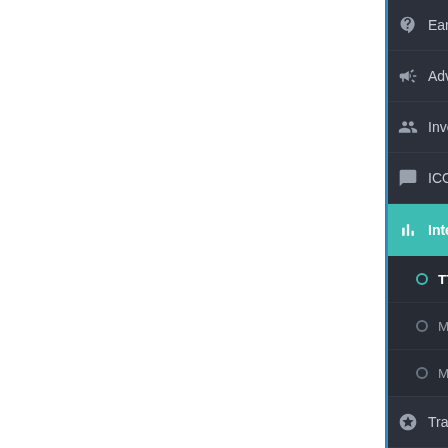[Figure (screenshot): Dark sidebar navigation menu for a cryptocurrency platform showing menu items: Earn (badge 25), Advertise, Invest, ICO (badge 1), Internal Exchange (active/highlighted in teal with sub-items: TTC/BTC Exchange, My Current Orders, My Trading History), Trade Cryptocurrency, Revenue Sharing (badge 2), Marketplace, Referrals, Money]
Earn 25
Advertise
Invest
ICO 1
Internal Exchange
TTC / BTC Exchange
My Current Orders
My Trading History
Trade Cryptocurrency
Revenue Sharing 2
Marketplace
Referrals
Money